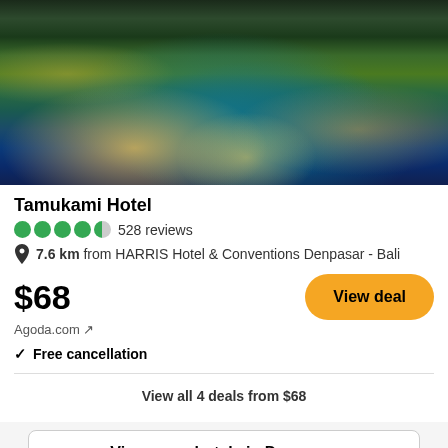[Figure (photo): Night-time photo of Tamukami Hotel showing an illuminated outdoor swimming pool surrounded by tropical vegetation and traditional Balinese-style buildings with warm lighting.]
Tamukami Hotel
4.5 bubbles 528 reviews
7.6 km from HARRIS Hotel & Conventions Denpasar - Bali
$68 Agoda.com
View deal
✓ Free cancellation
View all 4 deals from $68
View more hotels in Denpasar
Reviews (232)
Write a review